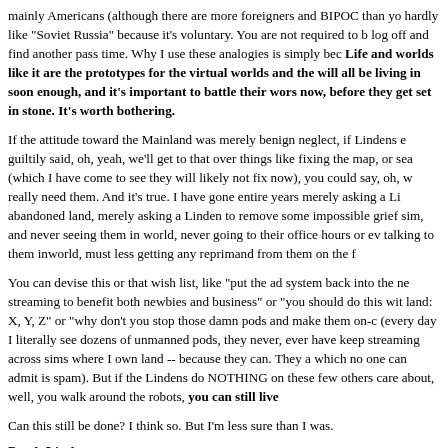mainly Americans (although there are more foreigners and BIPOC than yo hardly like "Soviet Russia" because it's voluntary. You are not required to b log off and find another pass time. Why I use these analogies is simply bec Life and worlds like it are the prototypes for the virtual worlds and the will all be living in soon enough, and it's important to battle their wors now, before they get set in stone. It's worth bothering.
If the attitude toward the Mainland was merely benign neglect, if Lindens e guiltily said, oh, yeah, we'll get to that over things like fixing the map, or sea (which I have come to see they will likely not fix now), you could say, oh, w really need them. And it's true. I have gone entire years merely asking a Li abandoned land, merely asking a Linden to remove some impossible grief sim, and never seeing them in world, never going to their office hours or ev talking to them inworld, must less getting any reprimand from them on the f
You can devise this or that wish list, like "put the ad system back into the ne streaming to benefit both newbies and business" or "you should do this wit land: X, Y, Z" or "why don't you stop those damn pods and make them on-c (every day I literally see dozens of unmanned pods, they never, ever have keep streaming across sims where I own land -- because they can. They a which no one can admit is spam). But if the Lindens do NOTHING on these few others care about, well, you walk around the robots, you can still live
Can this still be done? I think so. But I'm less sure than I was.
Patch Linden
So to come specifically to Patch Linden. This is an interesting talk at the ec because in some ways, he says more than he does for Saffia at Prim Perfe see why. When the Lindens deal with an educator -- someone with an onlin they show more respect. They are dealing more with a peer. They aren't as condescending as they are to residents who are mainly about shopping a